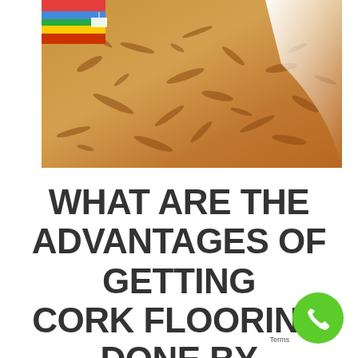[Figure (photo): Close-up photograph of cork/OSB flooring material showing textured wood chip surface in golden-brown tones, with a colorful rug or fabric visible in the top-left corner and a white shadow/light in the top-right.]
WHAT ARE THE ADVANTAGES OF GETTING CORK FLOORING DONE BY MORETONS?